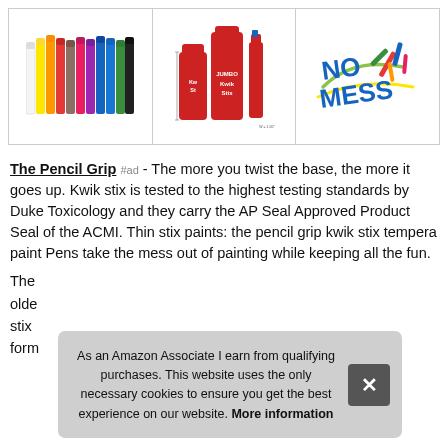[Figure (photo): Three product images in a bordered row: (1) a set of colorful markers/paint sticks in multiple colors, (2) Kwik Stix tempera paint sticks in different sizes with dimension labels, (3) 'NO MESS' logo/graphic with colorful marker illustrations]
The Pencil Grip #ad - The more you twist the base, the more it goes up. Kwik stix is tested to the highest testing standards by Duke Toxicology and they carry the AP Seal Approved Product Seal of the ACMI. Thin stix paints: the pencil grip kwik stix tempera paint Pens take the mess out of painting while keeping all the fun.
The [partially visible] olde... stix... form...
As an Amazon Associate I earn from qualifying purchases. This website uses the only necessary cookies to ensure you get the best experience on our website. More information